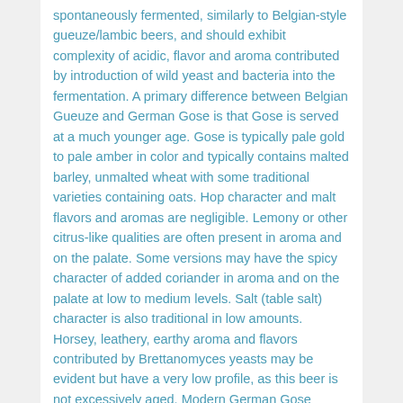spontaneously fermented, similarly to Belgian-style gueuze/lambic beers, and should exhibit complexity of acidic, flavor and aroma contributed by introduction of wild yeast and bacteria into the fermentation. A primary difference between Belgian Gueuze and German Gose is that Gose is served at a much younger age. Gose is typically pale gold to pale amber in color and typically contains malted barley, unmalted wheat with some traditional varieties containing oats. Hop character and malt flavors and aromas are negligible. Lemony or other citrus-like qualities are often present in aroma and on the palate. Some versions may have the spicy character of added coriander in aroma and on the palate at low to medium levels. Salt (table salt) character is also traditional in low amounts. Horsey, leathery, earthy aroma and flavors contributed by Brettanomyces yeasts may be evident but have a very low profile, as this beer is not excessively aged. Modern German Gose breweries typically introduce only pure beer yeast strains for fermentation. Low to medium lactic acid character is evident in all examples as sharp, refreshing sourness. Gose is typically enjoyed fresh, carbonated, and cloudy/hazy with yeast character, and may have evidence of continued fermentation activity.